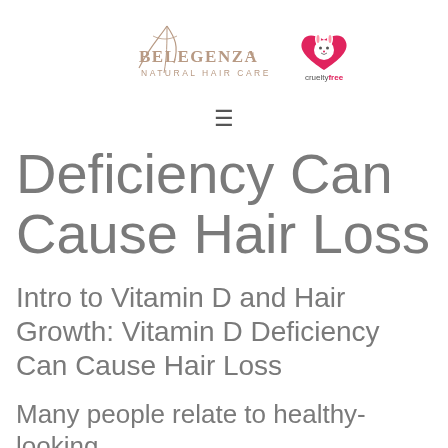[Figure (logo): Belegenza Natural Hair Care logo with stylized Y/hair icon, text 'BELEGENZA NATURAL HAIR CARE', and a cruelty free bunny logo]
Deficiency Can Cause Hair Loss
Intro to Vitamin D and Hair Growth: Vitamin D Deficiency Can Cause Hair Loss
Many people relate to healthy-looking